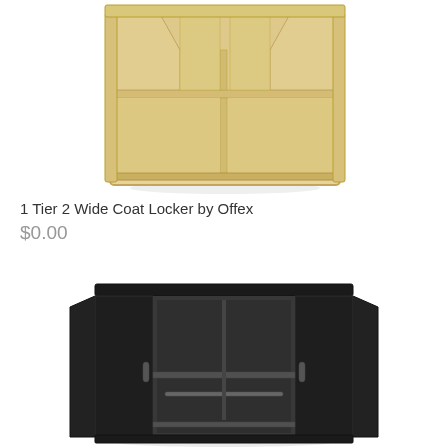[Figure (photo): A light wood-colored 1 Tier 2 Wide Coat Locker — open cubby style shelving unit with two top compartments side by side and two bottom compartments side by side, no doors, natural/birch wood finish.]
1 Tier 2 Wide Coat Locker by Offex
$0.00
[Figure (photo): A dark/black metal storage cabinet with two doors open, showing interior shelves and a hanging rod, dark charcoal/black finish.]